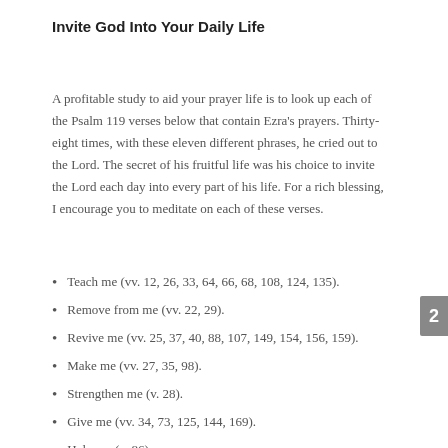Invite God Into Your Daily Life
A profitable study to aid your prayer life is to look up each of the Psalm 119 verses below that contain Ezra’s prayers. Thirty-eight times, with these eleven different phrases, he cried out to the Lord. The secret of his fruitful life was his choice to invite the Lord each day into every part of his life. For a rich blessing, I encourage you to meditate on each of these verses.
Teach me (vv. 12, 26, 33, 64, 66, 68, 108, 124, 135).
Remove from me (vv. 22, 29).
Revive me (vv. 25, 37, 40, 88, 107, 149, 154, 156, 159).
Make me (vv. 27, 35, 98).
Strengthen me (v. 28).
Give me (vv. 34, 73, 125, 144, 169).
Help me (v. 86).